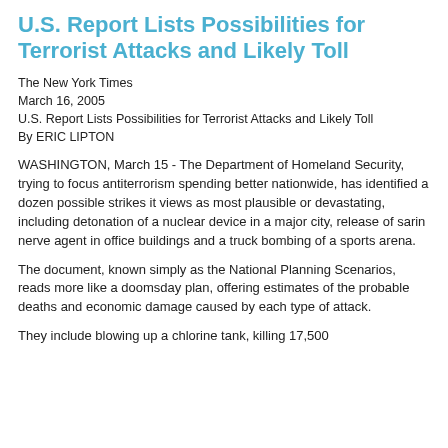U.S. Report Lists Possibilities for Terrorist Attacks and Likely Toll
The New York Times
March 16, 2005
U.S. Report Lists Possibilities for Terrorist Attacks and Likely Toll
By ERIC LIPTON
WASHINGTON, March 15 - The Department of Homeland Security, trying to focus antiterrorism spending better nationwide, has identified a dozen possible strikes it views as most plausible or devastating, including detonation of a nuclear device in a major city, release of sarin nerve agent in office buildings and a truck bombing of a sports arena.
The document, known simply as the National Planning Scenarios, reads more like a doomsday plan, offering estimates of the probable deaths and economic damage caused by each type of attack.
They include blowing up a chlorine tank, killing 17,500